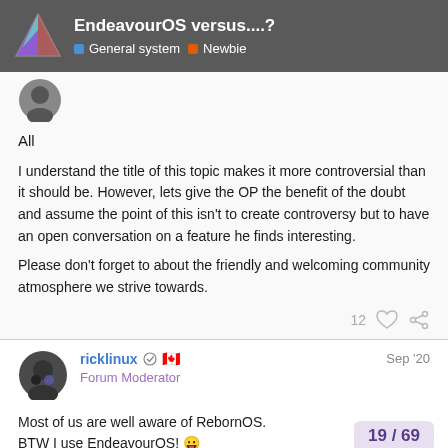EndeavourOS versus....? | General system | Newbie
[Figure (screenshot): User avatar circle for first post]
All
I understand the title of this topic makes it more controversial than it should be. However, lets give the OP the benefit of the doubt and assume the point of this isn't to create controversy but to have an open conversation on a feature he finds interesting.
Please don't forget to about the friendly and welcoming community atmosphere we strive towards.
12
ricklinux | Forum Moderator | Sep '20
Most of us are well aware of RebornOS. BTW I use EndeavourOS!
19 / 69